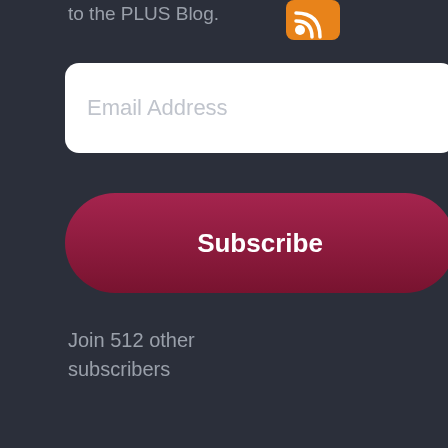to the PLUS Blog.
[Figure (logo): Orange RSS feed icon]
Email Address
Subscribe
Join 512 other subscribers
JOIN THE DISCUSSION ON TWITTER
[Figure (screenshot): Twitter widget showing Tweets from @PLUS_HQ with a circular logo and Twitter bird icon]